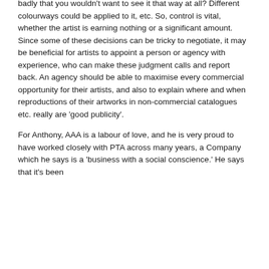badly that you wouldn't want to see it that way at all? Different colourways could be applied to it, etc. So, control is vital, whether the artist is earning nothing or a significant amount. Since some of these decisions can be tricky to negotiate, it may be beneficial for artists to appoint a person or agency with experience, who can make these judgment calls and report back. An agency should be able to maximise every commercial opportunity for their artists, and also to explain where and when reproductions of their artworks in non-commercial catalogues etc. really are 'good publicity'.
For Anthony, AAA is a labour of love, and he is very proud to have worked closely with PTA across many years, a Company which he says is a 'business with a social conscience.' He says that it's been